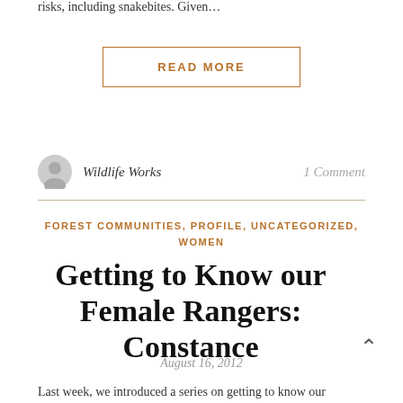risks, including snakebites. Given…
READ MORE
Wildlife Works
1 Comment
FOREST COMMUNITIES, PROFILE, UNCATEGORIZED, WOMEN
Getting to Know our Female Rangers: Constance
August 16, 2012
Last week, we introduced a series on getting to know our